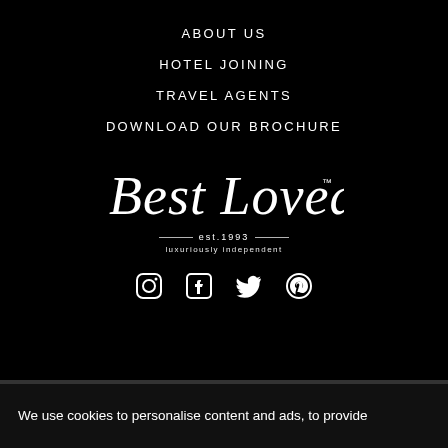ABOUT US
HOTEL JOINING
TRAVEL AGENTS
DOWNLOAD OUR BROCHURE
[Figure (logo): Best Loved Hotels logo in script font with 'est.1993' and 'luxuriously independent' tagline]
[Figure (infographic): Social media icons: Instagram, Facebook, Twitter, Pinterest]
We use cookies to personalise content and ads, to provide